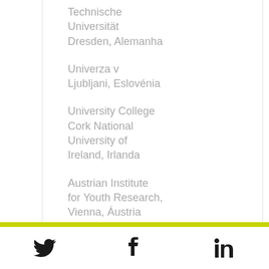Technische Universität Dresden, Alemanha
Univerza v Ljubljani, Eslovénia
University College Cork National University of Ireland, Irlanda
Austrian Institute for Youth Research, Vienna, Áustria
Centre for European and Regional Youth
Twitter Facebook LinkedIn